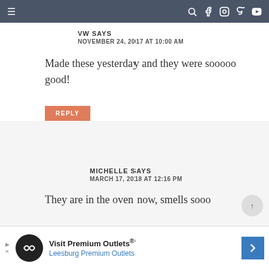Navigation bar with hamburger menu and social icons
VW SAYS
NOVEMBER 24, 2017 AT 10:00 AM
Made these yesterday and they were sooooo good!
REPLY
MICHELLE SAYS
MARCH 17, 2018 AT 12:16 PM
They are in the oven now, smells sooo
[Figure (other): Advertisement banner for Visit Premium Outlets - Leesburg Premium Outlets with logo and arrow icon]